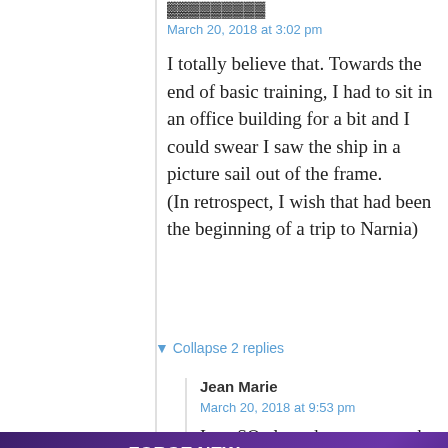[author name - partially cut off at top]
March 20, 2018 at 3:02 pm
I totally believe that. Towards the end of basic training, I had to sit in an office building for a bit and I could swear I saw the ship in a picture sail out of the frame.
(In retrospect, I wish that had been the beginning of a trip to Narnia)
▼ Collapse 2 replies
Jean Marie
March 20, 2018 at 9:53 pm
I am SO pleased you went to the Dawn
[Figure (screenshot): Agnes Scott College advertisement banner: purple background with text 'FORGE NEW GROUND IN COMMUNICATION' and 'APPLY NOW' button, with Agnes Scott College logo on left side. Has a CLOSE button overlay in top right.]